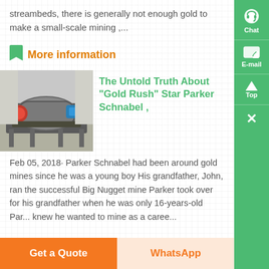streambeds, there is generally not enough gold to make a small-scale mining ,...
More information
[Figure (photo): Industrial gold mining equipment, a large drum/trommel machine on a metal frame in a warehouse setting]
The Untold Truth About "Gold Rush" Star Parker Schnabel ,
Feb 05, 2018· Parker Schnabel had been around gold mines since he was a young boy His grandfather, John, ran the successful Big Nugget mine Parker took over for his grandfather when he was only 16-years-old Par... knew he wanted to mine as a caree...